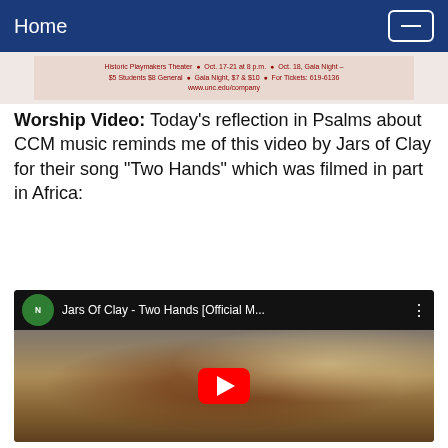Home
[Figure (screenshot): Banner image showing Historic Playmakers Theater event details: Oct. 17-21 at 8 p.m., Oct. 18 Gala Night, $5 Students $8 General, Gala Night $7 & $10, For Tickets: 619-6136, www.unc.edu/company]
Worship Video: Today's reflection in Psalms about CCM music reminds me of this video by Jars of Clay for their song "Two Hands" which was filmed in part in Africa:
[Figure (screenshot): YouTube video embed showing 'Jars Of Clay - Two Hands [Official M...' with Nettwerk channel icon. Video thumbnail shows African children with a yellow water container near a large dark tank. Red YouTube play button in center.]